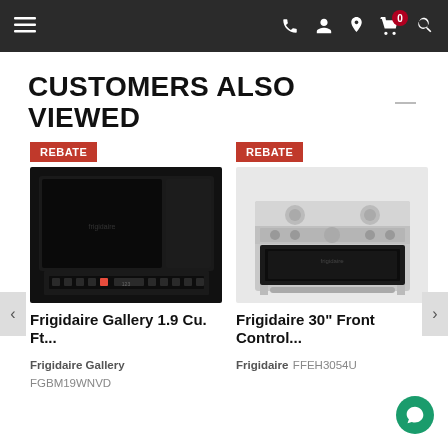Navigation bar with menu, phone, account, location, cart (0), search icons
CUSTOMERS ALSO VIEWED
[Figure (photo): Frigidaire Gallery over-the-range microwave in black stainless steel with REBATE badge]
Frigidaire Gallery 1.9 Cu. Ft...
Frigidaire Gallery
FGBM19WNVD
[Figure (photo): Frigidaire 30 inch front control electric range in stainless steel with REBATE badge]
Frigidaire 30" Front Control...
Frigidaire FFEH3054U